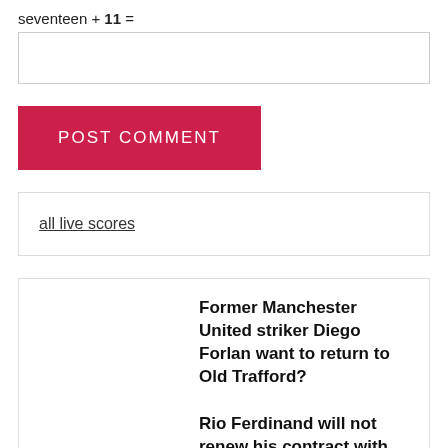[input box]
POST COMMENT
all live scores
Former Manchester United striker Diego Forlan want to return to Old Trafford?
Rio Ferdinand will not renew his contract with Manchester United?